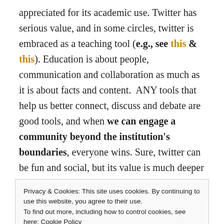appreciated for its academic use. Twitter has serious value, and in some circles, twitter is embraced as a teaching tool (e.g., see this & this). Education is about people, communication and collaboration as much as it is about facts and content.  ANY tools that help us better connect, discuss and debate are good tools, and when we can engage a community beyond the institution's boundaries, everyone wins. Sure, twitter can be fun and social, but its value is much deeper and more significant.
5. Validation: we all need to feel that things we do are
Privacy & Cookies: This site uses cookies. By continuing to use this website, you agree to their use.
To find out more, including how to control cookies, see here: Cookie Policy
significant 'A-Ha!' moments was when students talked